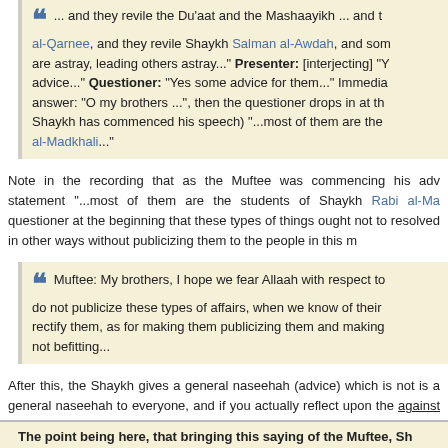... and they revile the Du'aat and the Mashaayikh ... and al-Qarnee, and they revile Shaykh Salman al-Awdah, and some are astray, leading others astray..." Presenter: [interjecting] "Y advice..." Questioner: "Yes some advice for them..." Immedia answer: "O my brothers ...", then the questioner drops in at th Shaykh has commenced his speech) "...most of them are the al-Madkhali..."
Note in the recording that as the Muftee was commencing his adv statement "...most of them are the students of Shaykh Rabi al-Ma questioner at the beginning that these types of things ought not to resolved in other ways without publicizing them to the people in this m
Muftee: My brothers, I hope we fear Allaah with respect to do not publicize these types of affairs, when we know of their rectify them, as for making them publicizing them and making not befitting...
After this, the Shaykh gives a general naseehah (advice) which is not is a general naseehah to everyone, and if you actually reflect upon the against them, not for them - refer to Part 2 of this article for that.
The point being here, that bringing this saying of the Muftee, Sh